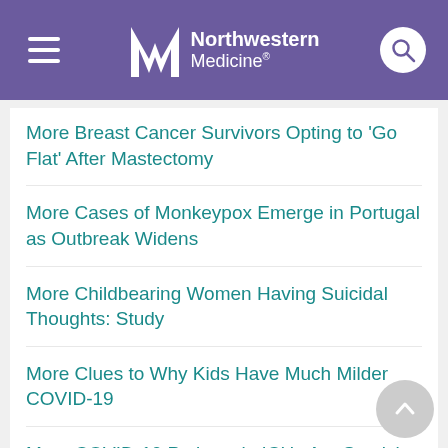Northwestern Medicine
More Breast Cancer Survivors Opting to 'Go Flat' After Mastectomy
More Cases of Monkeypox Emerge in Portugal as Outbreak Widens
More Childbearing Women Having Suicidal Thoughts: Study
More Clues to Why Kids Have Much Milder COVID-19
More COVID-19 Patients in ICUs Are Surviving Now: Study
More Cyberbullying, More Suicidal Thoughts Among Teens: Study
More Evidence Fitness Trackers Can Boost Your